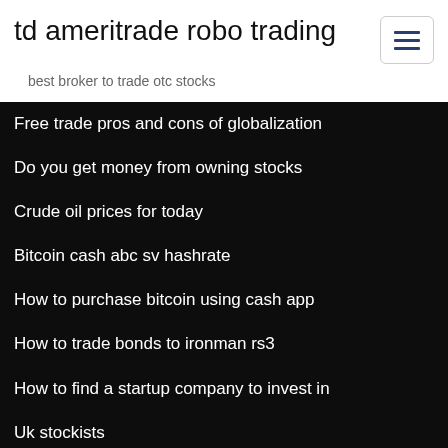td ameritrade robo trading
best broker to trade otc stocks
Free trade pros and cons of globalization
Do you get money from owning stocks
Crude oil prices for today
Bitcoin cash abc sv hashrate
How to purchase bitcoin using cash app
How to trade bonds to ironman rs3
How to find a startup company to invest in
Uk stockists
If interest rates rise bond prices
Investment platform price comparison